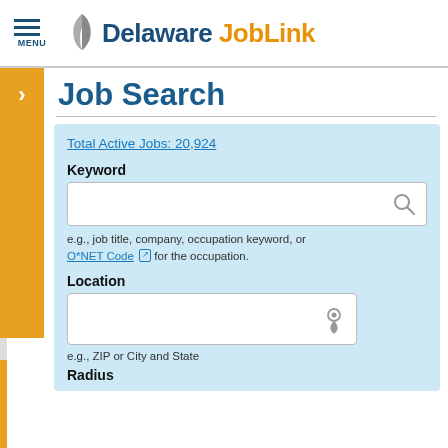MENU — Delaware JobLink
Job Search
Total Active Jobs: 20,924
Keyword
e.g., job title, company, occupation keyword, or O*NET Code for the occupation.
Location
e.g., ZIP or City and State
Radius